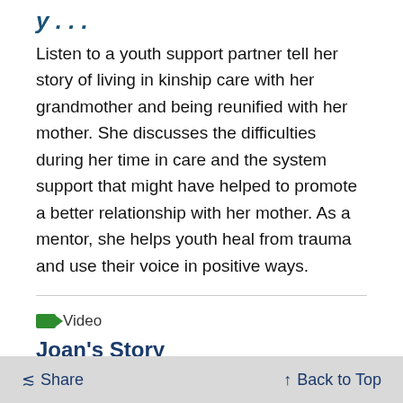y . . .
Listen to a youth support partner tell her story of living in kinship care with her grandmother and being reunified with her mother. She discusses the difficulties during her time in care and the system support that might have helped to promote a better relationship with her mother. As a mentor, she helps youth heal from trauma and use their voice in positive ways.
Video
Joan's Story
Underscores the importance of community connections and ongoing supports to child and family well-being. In this set of digital stories, a mother, Joan, promotes the "surround-sound parenting" for her adopted